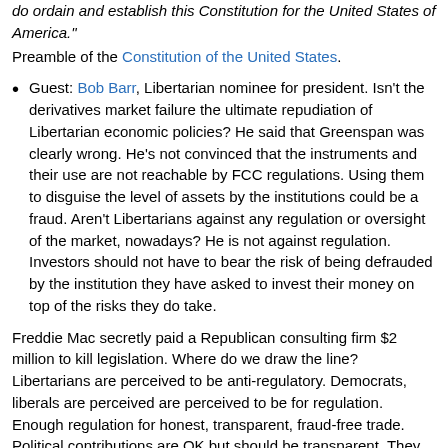do ordain and establish this Constitution for the United States of America." Preamble of the Constitution of the United States.
Guest: Bob Barr, Libertarian nominee for president. Isn't the derivatives market failure the ultimate repudiation of Libertarian economic policies? He said that Greenspan was clearly wrong. He's not convinced that the instruments and their use are not reachable by FCC regulations. Using them to disguise the level of assets by the institutions could be a fraud. Aren't Libertarians against any regulation or oversight of the market, nowadays? He is not against regulation. Investors should not have to bear the risk of being defrauded by the institution they have asked to invest their money on top of the risks they do take.
Freddie Mac secretly paid a Republican consulting firm $2 million to kill legislation. Where do we draw the line? Libertarians are perceived to be anti-regulatory. Democrats, liberals are perceived are perceived to be for regulation. Enough regulation for honest, transparent, fraud-free trade. Political contributions are OK but should be transparent. They agree on privacy and surveillance, first and fourth